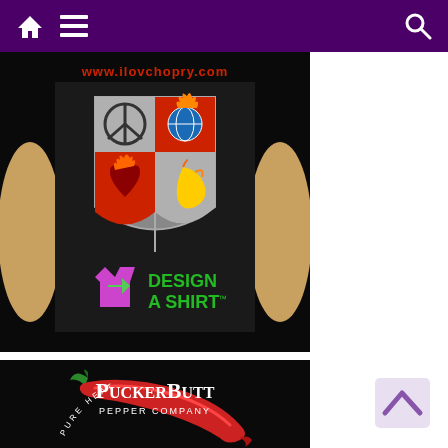Navigation bar with home, menu, and search icons
[Figure (photo): T-shirt featuring a heraldic shield design with four quadrants showing a peace symbol, globe on fire, flaming heart, and chili pepper. Below the shield text reads 'DESIGN A SHIRT' in green with a purple t-shirt icon. URL 'www.ilovchopry.com' shown at top in red. Black background.]
[Figure (logo): PuckerButt Pepper Company logo on black background. Shows a large red chili pepper with 'PUCKERBUTT PEPPER COMPANY' text in white and 'PURE ... HEAT' text around the bottom arc. Green leaf detail.]